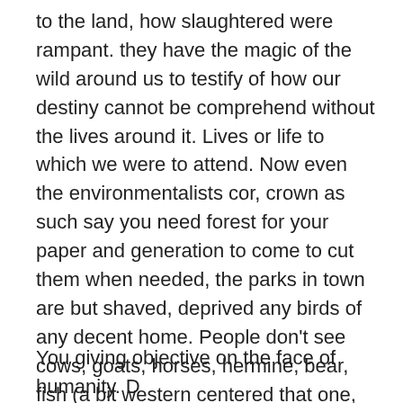to the land, how slaughtered were rampant. they have the magic of the wild around us to testify of how our destiny cannot be comprehend without the lives around it. Lives or life to which we were to attend. Now even the environmentalists cor, crown as such say you need forest for your paper and generation to come to cut them when needed, the parks in town are but shaved, deprived any birds of any decent home. People don't see cows, goats, horses, hermine, bear, fish (a bit western centered that one, but then other hemisphere extinct all what they have had, yes had, as in to have instead of alive), no more than unicorn.
You giving objective on the face of humanity. D...